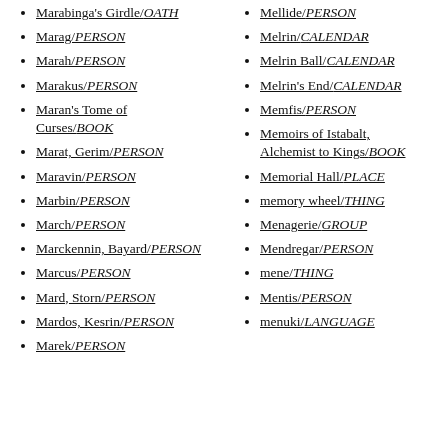Marabinga's Girdle/OATH
Marag/PERSON
Marah/PERSON
Marakus/PERSON
Maran's Tome of Curses/BOOK
Marat, Gerim/PERSON
Maravin/PERSON
Marbin/PERSON
March/PERSON
Marckennin, Bayard/PERSON
Marcus/PERSON
Mard, Storn/PERSON
Mardos, Kesrin/PERSON
Marek/PERSON
Mellide/PERSON
Melrin/CALENDAR
Melrin Ball/CALENDAR
Melrin's End/CALENDAR
Memfis/PERSON
Memoirs of Istabalt, Alchemist to Kings/BOOK
Memorial Hall/PLACE
memory wheel/THING
Menagerie/GROUP
Mendregar/PERSON
mene/THING
Mentis/PERSON
menuki/LANGUAGE